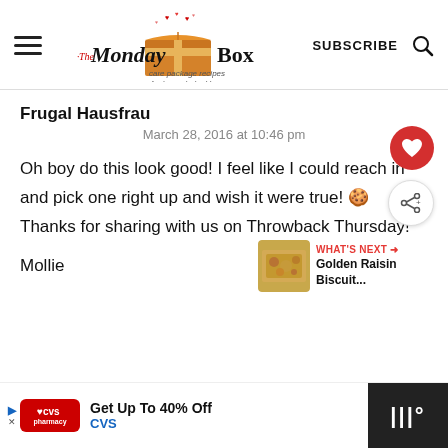The Monday Box — care package recipes for home-baked love | SUBSCRIBE
Frugal Hausfrau
March 28, 2016 at 10:46 pm
Oh boy do this look good! I feel like I could reach in and pick one right up and wish it were true! 🍪 Thanks for sharing with us on Throwback Thursday!
Mollie
[Figure (screenshot): CVS advertisement banner at bottom: Get Up To 40% Off CVS, with navigation arrow icon and dark panel on right]
WHAT'S NEXT → Golden Raisin Biscuit...